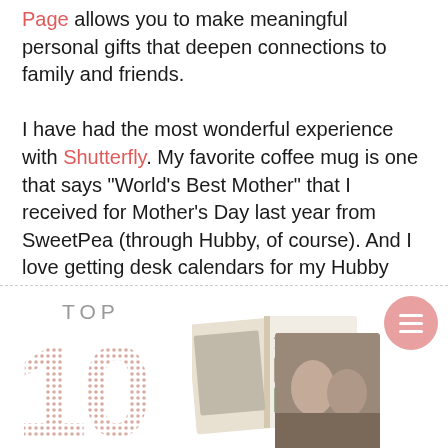Page allows you to make meaningful personal gifts that deepen connections to family and friends.

I have had the most wonderful experience with Shutterfly. My favorite coffee mug is one that says "World's Best Mother" that I received for Mother's Day last year from SweetPea (through Hubby, of course). And I love getting desk calendars for my Hubby each year so he can proudly display pictures of our family at work. I love buying photo books to share with my family and I am definitely eyeing one of those iPhone cases!
[Figure (photo): Bottom infographic section showing 'TOP 10' text with dotted/patterned large numerals on the left, and a photo book open to a page titled 'A Good Life' with photos, alongside a photo of a couple, with a pink circular menu button in the top right corner.]